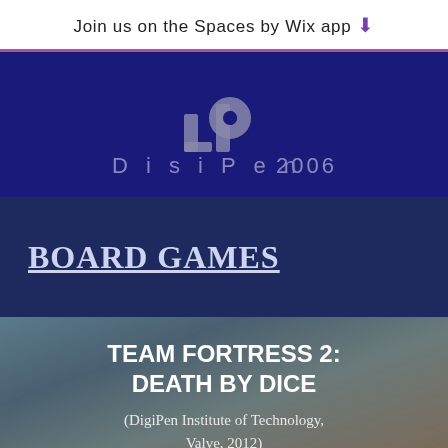Join us on the Spaces by Wix app ⬇
[Figure (logo): DigiPen 2006 logo on dark navy background]
BOARD GAMES
TEAM FORTRESS 2: DEATH BY DICE
(DigiPen Institute of Technology, Valve, 2012)
Features: